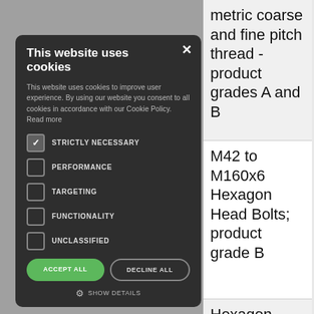metric coarse and fine pitch thread - product grades A and B
M42 to M160x6 Hexagon Head Bolts; product grade B
Hexagon Slotted Nuts with metric coarse pitch
This website uses cookies
This website uses cookies to improve user experience. By using our website you consent to all cookies in accordance with our Cookie Policy. Read more
STRICTLY NECESSARY
PERFORMANCE
TARGETING
FUNCTIONALITY
UNCLASSIFIED
ACCEPT ALL
DECLINE ALL
SHOW DETAILS